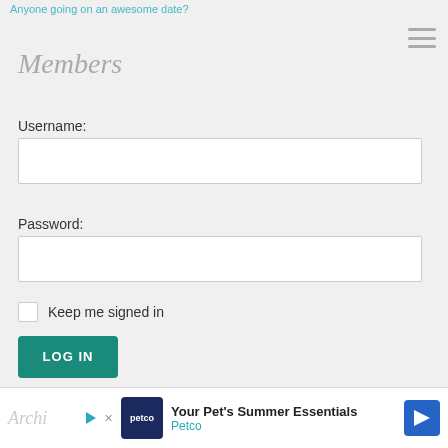Anyone going on an awesome date?
Members
Username:
[Figure (screenshot): Empty username text input field]
Password:
[Figure (screenshot): Empty password text input field]
Keep me signed in
LOG IN
Register
Lost Password
[Figure (other): Petco advertisement banner: Your Pet's Summer Essentials - Petco]